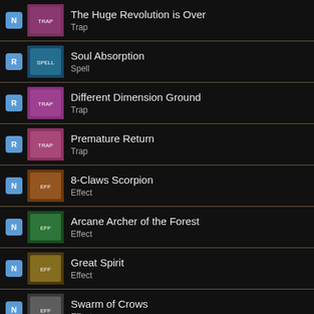The Huge Revolution is Over — Trap
Soul Absorption — Spell
Different Dimension Ground — Trap
Premature Return — Trap
8-Claws Scorpion — Effect
Arcane Archer of the Forest — Effect
Great Spirit — Effect
Swarm of Crows — Effect
Sinister Seeds — Trap